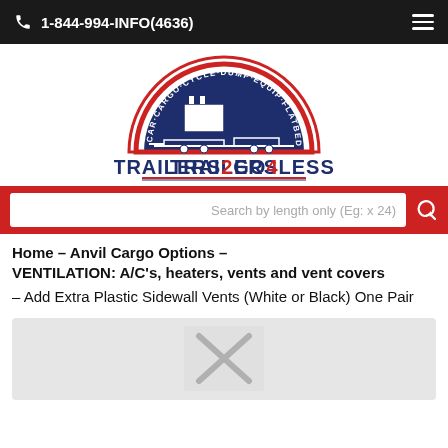1-844-994-INFO(4636)
[Figure (logo): Trailers2Go4Less logo with semicircular arc, trailer illustration, and text CAR-CARGO-CYCLE-DUMP-EQUIP-FLATBED-TILT-UTILITY around the top]
Search by length only (Eg: x 24)
Home – Anvil Cargo Options – VENTILATION: A/C's, heaters, vents and vent covers
– Add Extra Plastic Sidewall Vents (White or Black) One Pair
[Figure (photo): Product image placeholder with gray background and camera/no-image icon]